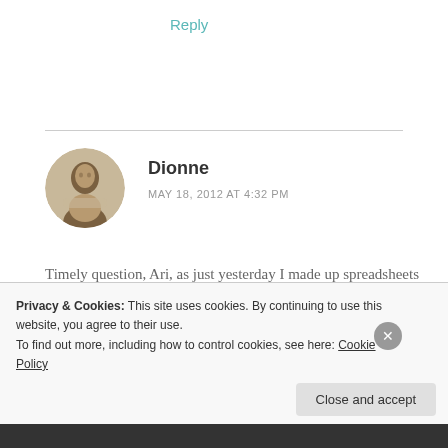Reply
[Figure (photo): Round avatar photo of commenter Dionne]
Dionne
MAY 18, 2012 AT 4:32 PM
Timely question, Ari, as just yesterday I made up spreadsheets of my full bottles, and decants and minis – I already have one of everything I've sampled – which also
Privacy & Cookies: This site uses cookies. By continuing to use this website, you agree to their use.
To find out more, including how to control cookies, see here: Cookie Policy
Close and accept